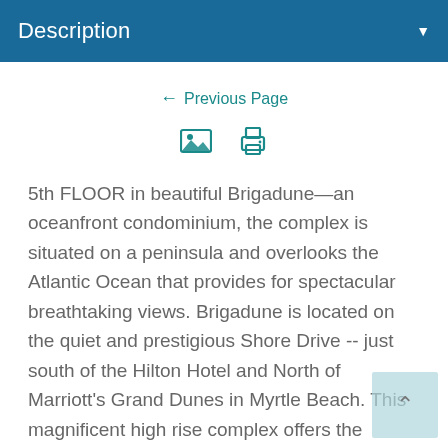Description
← Previous Page
[Figure (other): Image icon and print icon buttons]
5th FLOOR in beautiful Brigadune—an oceanfront condominium, the complex is situated on a peninsula and overlooks the Atlantic Ocean that provides for spectacular breathtaking views. Brigadune is located on the quiet and prestigious Shore Drive -- just south of the Hilton Hotel and North of Marriott's Grand Dunes in Myrtle Beach. This magnificent high rise complex offers the ultimate in oceanfront vacationing with numerous